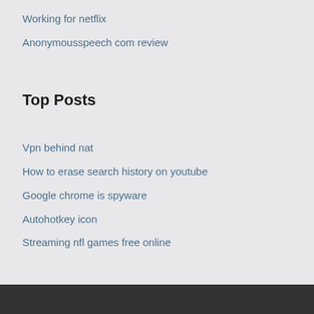Working for netflix
Anonymousspeech com review
Top Posts
Vpn behind nat
How to erase search history on youtube
Google chrome is spyware
Autohotkey icon
Streaming nfl games free online